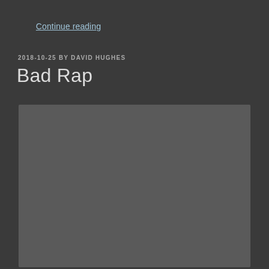Continue reading
2018-10-25 BY DAVID HUGHES
Bad Rap
[Figure (photo): A large gray placeholder image block with a medium gray background, no visible content.]